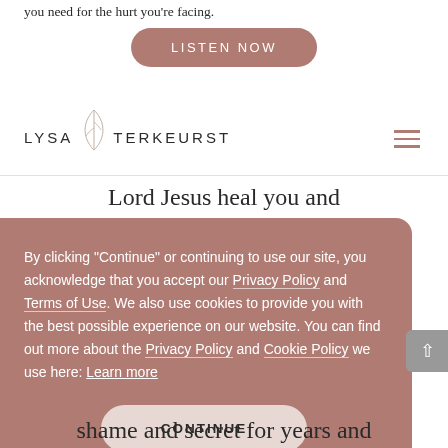you need for the hurt you're facing.
LISTEN NOW
[Figure (logo): Lysa TerKeurst logo with botanical leaf illustration and text 'LYSA TERKEURST']
Lord Jesus heal you and forgive. That is what He came
By clicking "Continue" or continuing to use our site, you acknowledge that you accept our Privacy Policy and Terms of Use. We also use cookies to provide you with the best possible experience on our website. You can find out more about the Privacy Policy and Cookie Policy we use here: Learn more
CONTINUE
shame and secret for years and